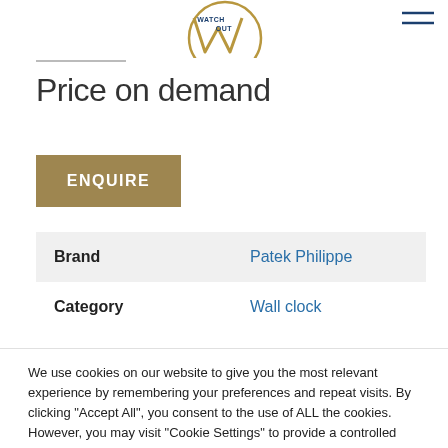[Figure (logo): Watch Out logo with W and O letters in gold/navy, text WATCH OUT above]
Price on demand
ENQUIRE
| Brand | Patek Philippe |
| Category | Wall clock |
We use cookies on our website to give you the most relevant experience by remembering your preferences and repeat visits. By clicking “Accept All”, you consent to the use of ALL the cookies. However, you may visit “Cookie Settings” to provide a controlled consent.
Cookie Settings | Accept All